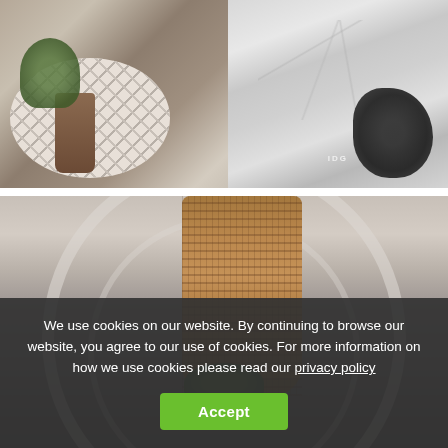[Figure (photo): Interior design photo showing overhead view of a mosaic side table with a brown vase and decorative plant on the left, and a marble floor area with a dark foliage plant on the right. An IDG logo watermark is visible.]
[Figure (photo): Close-up interior photo of a woven rattan/amber pendant light hanging inside a large circular ring frame, with a small green plant visible below, on a warm grey background.]
We use cookies on our website. By continuing to browse our website, you agree to our use of cookies. For more information on how we use cookies please read our privacy policy
Accept